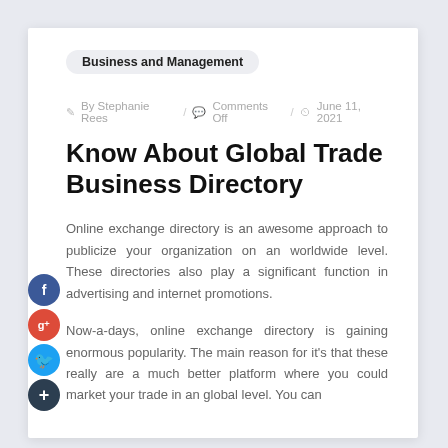Business and Management
By Stephanie Rees / Comments Off / June 11, 2021
Know About Global Trade Business Directory
Online exchange directory is an awesome approach to publicize your organization on an worldwide level. These directories also play a significant function in advertising and internet promotions.
Now-a-days, online exchange directory is gaining enormous popularity. The main reason for it's that these really are a much better platform where you could market your trade in an global level. You can